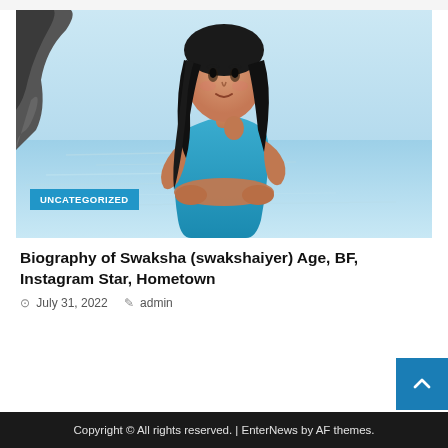[Figure (photo): Young woman with long dark hair wearing a blue sleeveless top, posed with arms crossed, standing near a rocky shore with sea water in the background. A teal/cyan badge labeled UNCATEGORIZED is overlaid at the bottom left of the photo.]
Biography of Swaksha (swakshaiyer) Age, BF, Instagram Star, Hometown
July 31, 2022  admin
Copyright © All rights reserved. | EnterNews by AF themes.